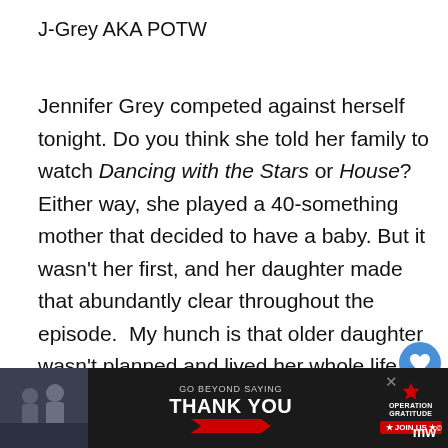J-Grey AKA POTW
Jennifer Grey competed against herself tonight. Do you think she told her family to watch Dancing with the Stars or House? Either way, she played a 40-something mother that decided to have a baby. But it wasn't her first, and her daughter made that abundantly clear throughout the episode. My hunch is that older daughter wasn't planned and lived her whole life feeling that way, whereas new nameless baby was completely planned for and ... cared
[Figure (infographic): GO BEYOND SAYING THANK YOU — Operation Gratitude advertisement banner at bottom of page with dark background, photo of people in uniform, red Join Us button, and close X button]